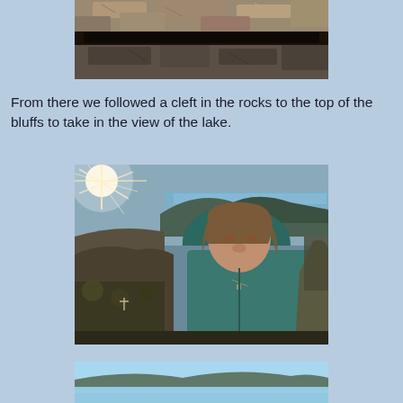[Figure (photo): Close-up photo of rocky surface with dark crevice/cleft, showing textured stone with shadows]
From there we followed a cleft in the rocks to the top of the bluffs to take in the view of the lake.
[Figure (photo): Person wearing a teal/blue hoodie standing on rocky bluffs with a lake visible in the background and sunlight flaring on the left side]
[Figure (photo): Partial view of lake and hills/mountains, shown at bottom of page (cropped)]